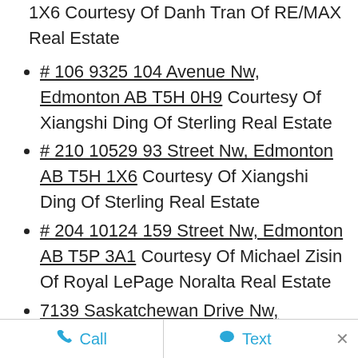1XE Courtesy Of Danh Tran Of RE/MAX Real Estate
# 106 9325 104 Avenue Nw, Edmonton AB T5H 0H9 Courtesy Of Xiangshi Ding Of Sterling Real Estate
# 210 10529 93 Street Nw, Edmonton AB T5H 1X6 Courtesy Of Xiangshi Ding Of Sterling Real Estate
# 204 10124 159 Street Nw, Edmonton AB T5P 3A1 Courtesy Of Michael Zisin Of Royal LePage Noralta Real Estate
7139 Saskatchewan Drive Nw, Edmonton AB T6G 2A4 Courtesy Of Aidan Woodfine Of Sweetly
7139 Saskatchewan Drive Nw, Edmonton AB
Call   Text   ×